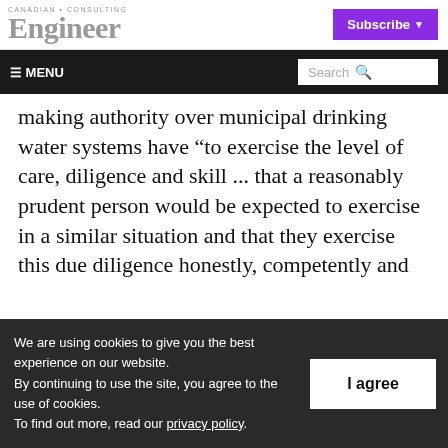Canadian Consulting Engineer | Subscribe
making authority over municipal drinking water systems have “to exercise the level of care, diligence and skill ... that a reasonably prudent person would be expected to exercise in a similar situation and that they exercise this due diligence honestly, competently and
We are using cookies to give you the best experience on our website. By continuing to use the site, you agree to the use of cookies. To find out more, read our privacy policy.